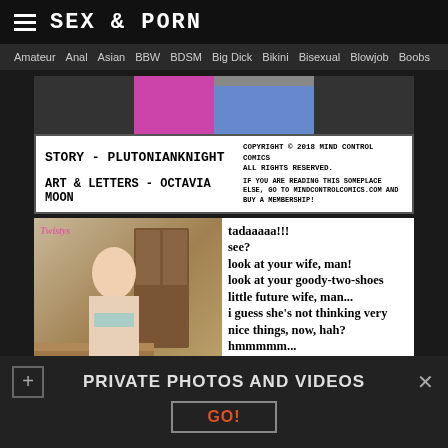SEX & PORN
Amateur  Anal  Asian  BBW  BDSM  Big Dick  Bikini  Bisexual  Blowjob  Boobs
[Figure (illustration): Comic panel showing top portion of illustrated scene]
STORY - PLUTONIANKNIGHT
ART & LETTERS - OCTAVIA MOON
COPYRIGHT © 2018 MIND CONTROL COMICS ALL RIGHTS RESERVED.
IF YOU ARE READING THIS SOMEPLACE ELSE, GO TO MINDCONTROLCOMICS.COM AND BUY A MEMBERSHIP!
[Figure (photo): Photo of young woman in bikini in kitchen setting, with Twistys watermark]
tadaaaaa!!!
see?
look at your wife, man!
look at your goody-two-shoes little future wife, man...
i guess she's not thinking very nice things, now, hah?
hmmmmm...
yeah, i think so...
i bet she's having some dirty thoughts in there, hah?
some reaaaal dirty
PRIVATE PHOTOS AND VIDEOS
GO!